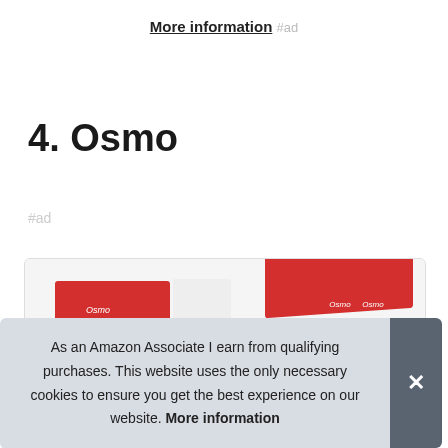More information #ad
4. Osmo
#ad
[Figure (photo): Osmo product boxes — red and white packages shown in a product card]
As an Amazon Associate I earn from qualifying purchases. This website uses the only necessary cookies to ensure you get the best experience on our website. More information